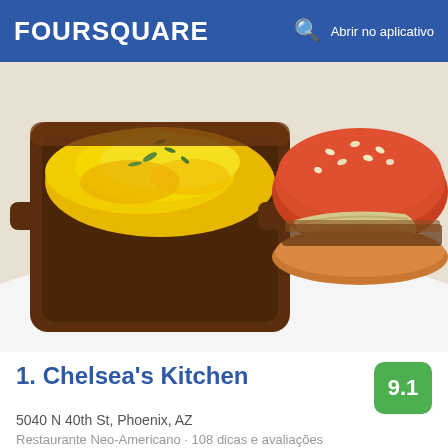FOURSQUARE   Abrir no aplicativo
[Figure (photo): Food photo showing a baked mac and cheese dish in a brown ceramic dish with melted yellow cheese on the left, and a sesame seed burger bun with filling on the right, on a white plate.]
1. Chelsea's Kitchen
5040 N 40th St, Phoenix, AZ
Restaurante Neo-Americano · 108 dicas e avaliações
William Brazil: Will Brazil's Mac 'n Cheese Run: Destination 2 - Chelsea's Baked Mac n' cheese is to die for. Every bite is cheesier than the last. Expect to twirl the spoon several times to get through